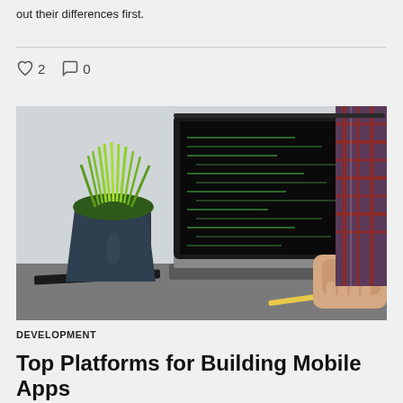out their differences first.
♡ 2   ○ 0
[Figure (photo): Person in plaid shirt typing on laptop with code on screen; green plant in dark pot on desk beside laptop]
DEVELOPMENT
Top Platforms for Building Mobile Apps